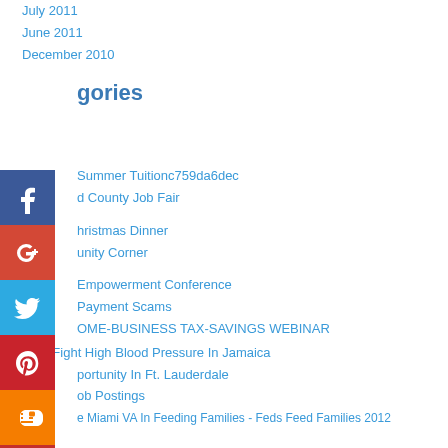July 2011
June 2011
December 2010
Categories
Summer Tuitionc759da6dec
d County Job Fair
Christmas Dinner
unity Corner
Empowerment Conference
Payment Scams
OME-BUSINESS TAX-SAVINGS WEBINAR
Help Fight High Blood Pressure In Jamaica
portunity In Ft. Lauderdale
Job Postings
e Miami VA In Feeding Families - Feds Feed Families 2012
Postings
A Difference Day
ar Hosts 2012 Career Fair
National Volunteer Week 2013
[Figure (infographic): Social media sharing icons: Facebook, Google+, Twitter, Pinterest, Blogger, YouTube, More]